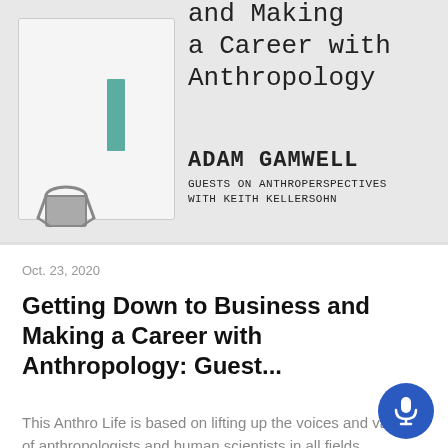[Figure (illustration): Podcast episode cover art showing a notebook card with a teal bookmark bar and a binder clip graphic on the left, with monospaced title text 'and Making a Career with Anthropology' and author 'ADAM GAMWELL, GUESTS ON ANTHROPERSPECTIVES WITH KEITH KELLERSOHN' on the right, on a light gray background.]
Oct. 23, 2020
Getting Down to Business and Making a Career with Anthropology: Guest...
This Anthro Life is based on lifting up the voices and value of anthropologists and human scientists in all fields through sharin...